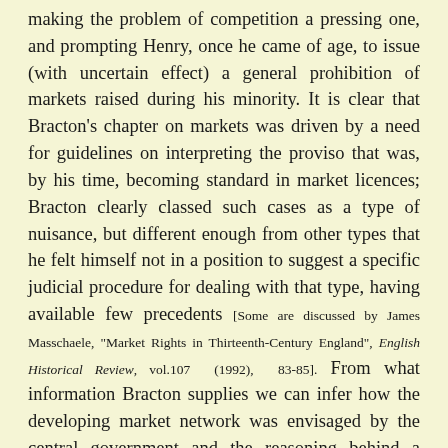making the problem of competition a pressing one, and prompting Henry, once he came of age, to issue (with uncertain effect) a general prohibition of markets raised during his minority. It is clear that Bracton's chapter on markets was driven by a need for guidelines on interpreting the proviso that was, by his time, becoming standard in market licences; Bracton clearly classed such cases as a type of nuisance, but different enough from other types that he felt himself not in a position to suggest a specific judicial procedure for dealing with that type, having available few precedents [Some are discussed by James Masschaele, "Market Rights in Thirteenth-Century England", English Historical Review, vol.107 (1992), 83-85]. From what information Bracton supplies we can infer how the developing market network was envisaged by the central government and the reasoning behind a definition of what constituted wrongful harm in competition between what we shall call market A and market B, both having legal grounds for existence (whether by prescription or by royal grant), but B being the more recent to come into existence and thereby